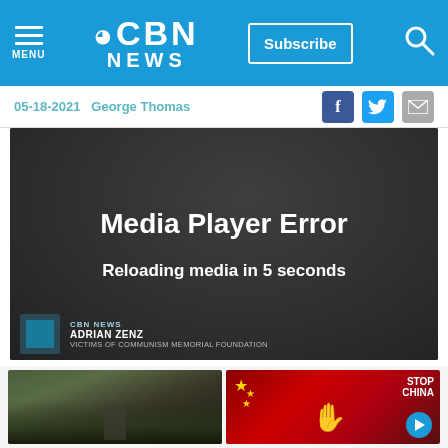CBN NEWS — Subscribe | Menu | Search
05-18-2021  George Thomas
[Figure (screenshot): Media player error screen showing 'Media Player Error' and 'Reloading media in 5 seconds' over a dark background. Lower bar shows 'ADRIAN ZENZ / VICTIMS OF COMMUNISM MEMORIAL FOUNDATION']
[Figure (photo): Chinese military honor guard with Xi Jinping at a parade ceremony]
[Figure (photo): Protest sign showing a red Chinese flag with a blue hand print and the words 'STOP CHINA']